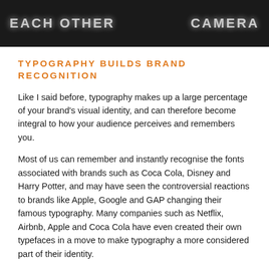[Figure (photo): Dark background photo showing neon light text signs reading 'EACH OTHER' on the left and 'CAMERA' on the right against a dark/black wall]
TYPOGRAPHY BUILDS BRAND RECOGNITION
Like I said before, typography makes up a large percentage of your brand's visual identity, and can therefore become integral to how your audience perceives and remembers you.
Most of us can remember and instantly recognise the fonts associated with brands such as Coca Cola, Disney and Harry Potter, and may have seen the controversial reactions to brands like Apple, Google and GAP changing their famous typography. Many companies such as Netflix, Airbnb, Apple and Coca Cola have even created their own typefaces in a move to make typography a more considered part of their identity.